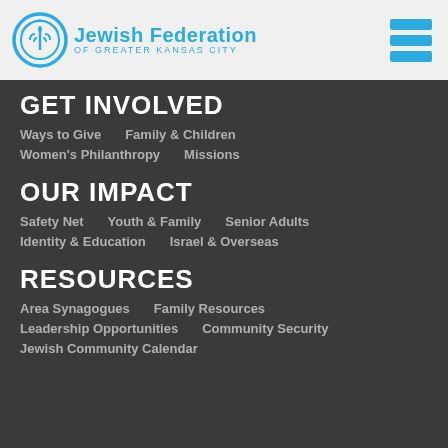Jewish Federation OF GREATER KANSAS CITY
GET INVOLVED
Ways to Give
Family & Children
Women's Philanthropy
Missions
OUR IMPACT
Safety Net
Youth & Family
Senior Adults
Identity & Education
Israel & Overseas
RESOURCES
Area Synagogues
Family Resources
Leadership Opportunities
Community Security
Jewish Community Calendar